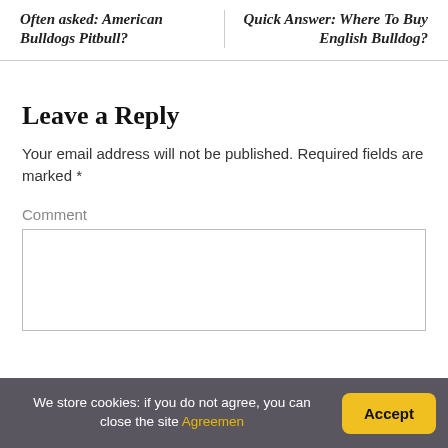Often asked: American Bulldogs Pitbull?
Quick Answer: Where To Buy English Bulldog?
Leave a Reply
Your email address will not be published. Required fields are marked *
Comment
We store cookies: if you do not agree, you can close the site Agreemen
Accept